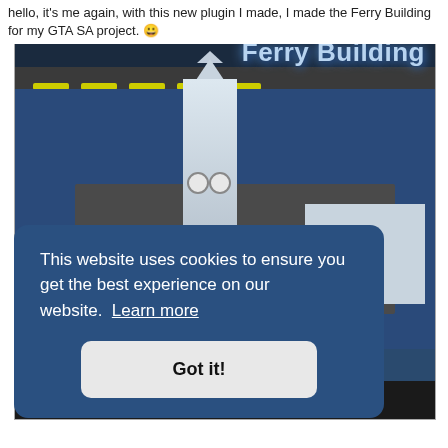hello, it's me again, with this new plugin I made, I made the Ferry Building for my GTA SA project. 🙂
[Figure (screenshot): A GTA SA game screenshot showing the Ferry Building — a tall clock tower with white/gray building on a pier surrounded by dark blue water, with a road overpass at the top. The text 'Ferry Building' appears in light blue on the right side. At the bottom, a 'Town' label in yellow on a dark bar.]
This website uses cookies to ensure you get the best experience on our website. Learn more
Got it!